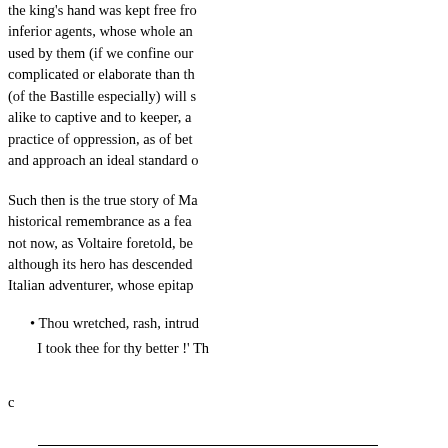the king's hand was kept free from inferior agents, whose whole art was used by them (if we confine our complicated or elaborate than the (of the Bastille especially) will show alike to captive and to keeper, as practice of oppression, as of better and approach an ideal standard of
Such then is the true story of Ma historical remembrance as a feature not now, as Voltaire foretold, be although its hero has descended Italian adventurer, whose epitap
Thou wretched, rash, intrud
I took thee for thy better !' Th
c
is not a translation from M. D that author. Mr. Ellis was of opi manner; and that the history des now put into his English library. the French, and undoubtedly m